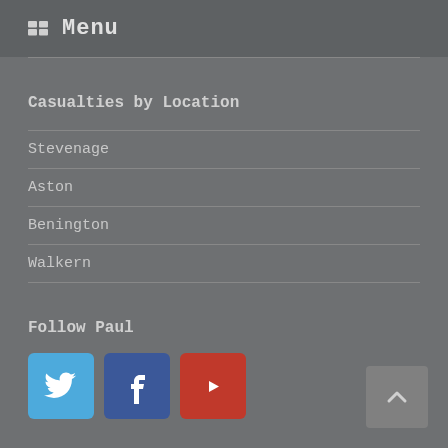Menu
Casualties by Location
Stevenage
Aston
Benington
Walkern
Follow Paul
[Figure (other): Social media buttons: Twitter (blue), Facebook (dark blue), YouTube (red)]
[Figure (other): Back to top button with upward chevron arrow]